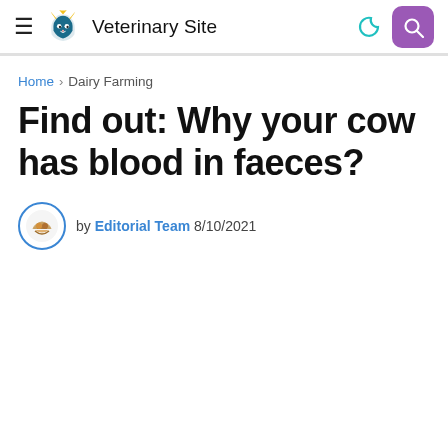Veterinary Site
Home › Dairy Farming
Find out: Why your cow has blood in faeces?
by Editorial Team 8/10/2021